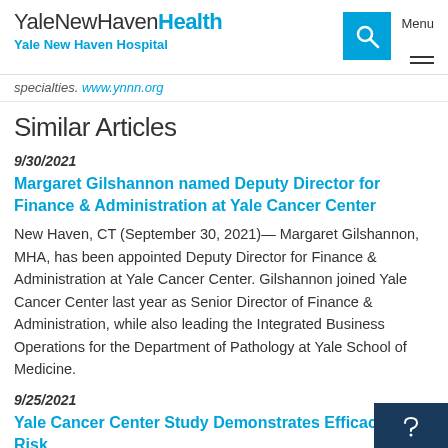YaleNewHavenHealth Yale New Haven Hospital
specialties. www.ynnn.org
Similar Articles
9/30/2021
Margaret Gilshannon named Deputy Director for Finance & Administration at Yale Cancer Center
New Haven, CT (September 30, 2021)— Margaret Gilshannon, MHA, has been appointed Deputy Director for Finance & Administration at Yale Cancer Center. Gilshannon joined Yale Cancer Center last year as Senior Director of Finance & Administration, while also leading the Integrated Business Operations for the Department of Pathology at Yale School of Medicine.
9/25/2021
Yale Cancer Center Study Demonstrates Efficacy of Risk